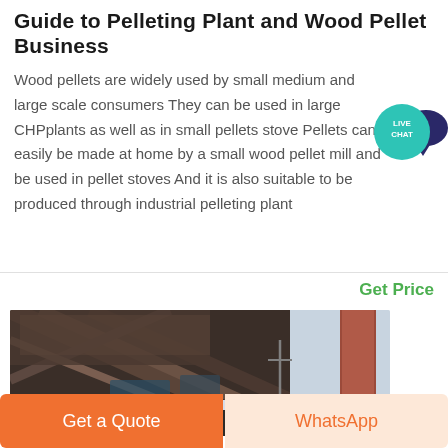Guide to Pelleting Plant and Wood Pellet Business
Wood pellets are widely used by small medium and large scale consumers They can be used in large CHPplants as well as in small pellets stove Pellets can easily be made at home by a small wood pellet mill and be used in pellet stoves And it is also suitable to be produced through industrial pelleting plant
Get Price
[Figure (photo): Industrial steel frame structure of a pelleting plant facility, showing metal beams and a red/brown cylindrical column against a bright sky]
Get a Quote
WhatsApp